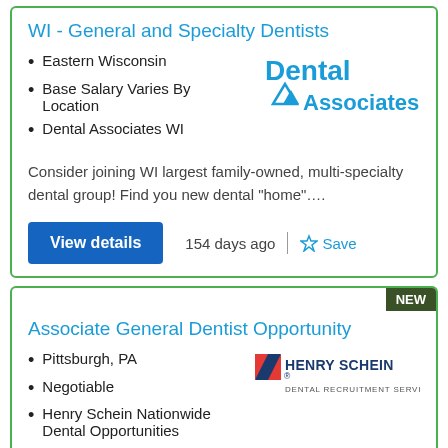WI - General and Specialty Dentists
Eastern Wisconsin
Base Salary Varies By Location
Dental Associates WI
[Figure (logo): Dental Associates logo with blue text and triangle icon]
Consider joining WI largest family-owned, multi-specialty dental group! Find you new dental "home"….
View details
154 days ago
Save
Associate General Dentist Opportunity
Pittsburgh, PA
Negotiable
Henry Schein Nationwide Dental Opportunities
[Figure (logo): Henry Schein Dental Recruitment Services logo]
Associate General Dentist Opportunity. Full time